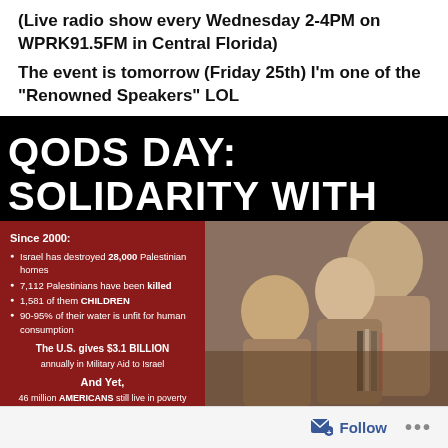(Live radio show every Wednesday 2-4PM on WPRK91.5FM in Central Florida)
The event is tomorrow (Friday 25th) I'm one of the "Renowned Speakers" LOL
[Figure (infographic): Event infographic for 'Qods Day: Solidarity with Gaza' with statistics about Palestinian casualties and U.S. military aid to Israel, alongside a photo of children.]